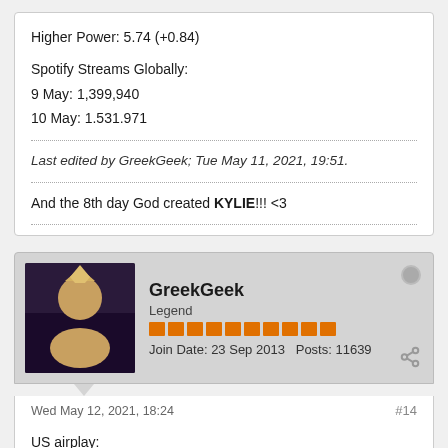Higher Power: 5.74 (+0.84)
Spotify Streams Globally:
9 May: 1,399,940
10 May: 1.531.971
Last edited by GreekGeek; Tue May 11, 2021, 19:51.
And the 8th day God created KYLIE!!! <3
GreekGeek
Legend
Join Date: 23 Sep 2013   Posts: 11639
Wed May 12, 2021, 18:24
#14
US airplay:
Higher Power: 7.04 (+1.31)

Spotify Global:
11 May 1,580,195 #41